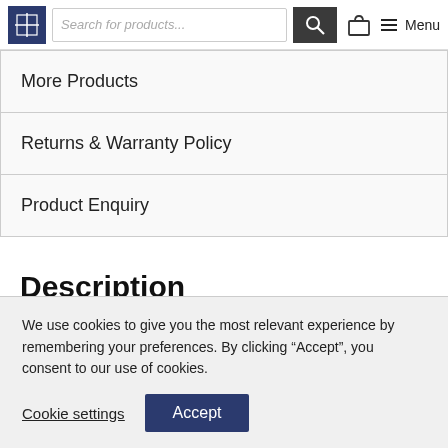Search for products... [search button] [basket] Menu
More Products
Returns & Warranty Policy
Product Enquiry
Description
Removable Wall Stickers, Cute Wren Bird Vinyl Wall Decal, British Garden Birds Nature Decal, Bird Vinyl Sticker
We use cookies to give you the most relevant experience by remembering your preferences. By clicking “Accept”, you consent to our use of cookies.
Cookie settings   Accept